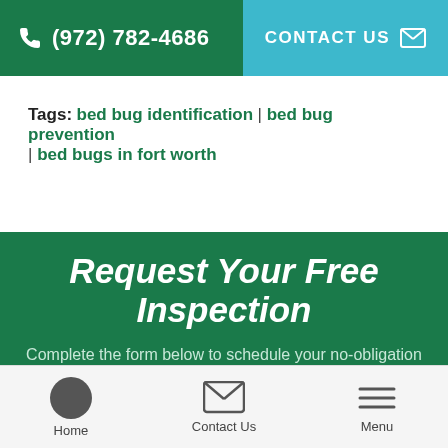(972) 782-4686 | CONTACT US
Tags: bed bug identification | bed bug prevention | bed bugs in fort worth
Request Your Free Inspection
Complete the form below to schedule your no-obligation inspection.
Home | Contact Us | Menu